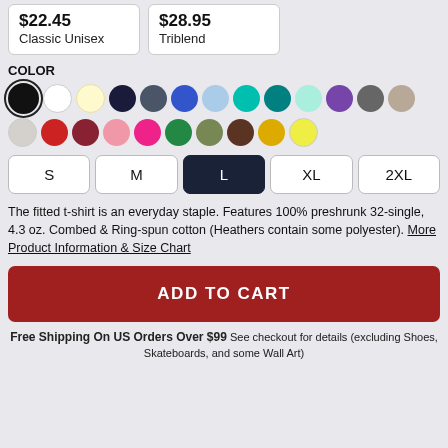$22.45 Classic Unisex
$28.95 Triblend
COLOR
[Figure (other): Color swatch selector with 24 color circles. First row: Black (selected), White, Light yellow, Navy, Slate, Royal Blue, Light blue, Teal, Dark teal, Mint, Purple, Charcoal, Tan. Second row: Light gray, Red, Dark red/Maroon, Pink, Hot pink, Green, Olive, Brown, Gold/Orange, Yellow, Light yellow.]
S M L XL 2XL (L selected)
The fitted t-shirt is an everyday staple. Features 100% preshrunk 32-single, 4.3 oz. Combed & Ring-spun cotton (Heathers contain some polyester). More Product Information & Size Chart
ADD TO CART
Free Shipping On US Orders Over $99 See checkout for details (excluding Shoes, Skateboards, and some Wall Art)